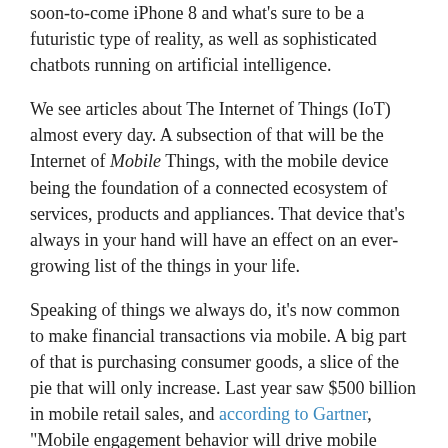soon-to-come iPhone 8 and what's sure to be a futuristic type of reality, as well as sophisticated chatbots running on artificial intelligence.
We see articles about The Internet of Things (IoT) almost every day. A subsection of that will be the Internet of Mobile Things, with the mobile device being the foundation of a connected ecosystem of services, products and appliances. That device that's always in your hand will have an effect on an ever-growing list of the things in your life.
Speaking of things we always do, it's now common to make financial transactions via mobile. A big part of that is purchasing consumer goods, a slice of the pie that will only increase. Last year saw $500 billion in mobile retail sales, and according to Gartner, "Mobile engagement behavior will drive mobile commerce revenue in the U.S. to 50 percent of U.S. digital commerce revenue."